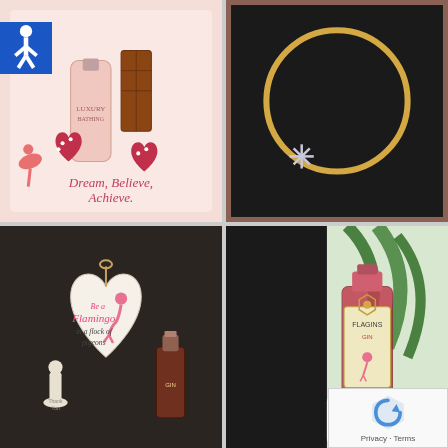[Figure (photo): Photo of a pink flamingo-themed gift set with hand cream tube, chocolate bar, and heart-shaped items, with text 'Dream, Believe, Achieve' on the box. Accessibility wheelchair icon overlay in top-left corner.]
[Figure (photo): Photo of a gold bangle bracelet with a snowflake charm displayed in a black jewelry box.]
[Figure (photo): Photo of a heart-shaped wooden sign reading 'Be a Flamingo in a flock of pigeons' with a flamingo illustration, alongside a miniature gin bottle and a small figurine.]
[Figure (photo): Photo of a bottle of Flamingo gin with colorful label featuring a flamingo, placed in front of a plant. reCAPTCHA Privacy - Terms overlay in bottom-right corner.]